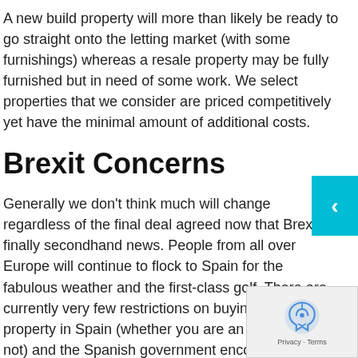A new build property will more than likely be ready to go straight onto the letting market (with some furnishings) whereas a resale property may be fully furnished but in need of some work. We select properties that we consider are priced competitively yet have the minimal amount of additional costs.
Brexit Concerns
Generally we don't think much will change regardless of the final deal agreed now that Brexit is finally secondhand news. People from all over Europe will continue to flock to Spain for the fabulous weather and the first-class golf. There are currently very few restrictions on buying any type of property in Spain (whether you are an EU citizen or not) and the Spanish government encourages foreign property investors regardless of whether it is